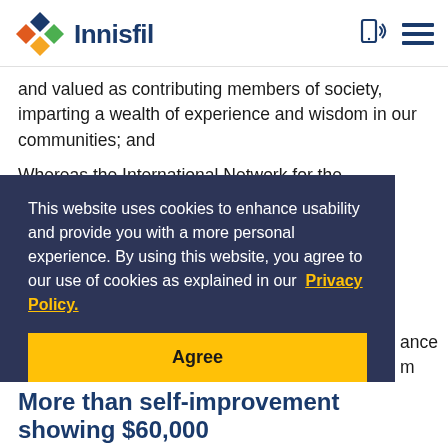Innisfil
and valued as contributing members of society, imparting a wealth of experience and wisdom in our communities; and
Whereas the International Network for the Prevention of Elder Abuse, in support of the
This website uses cookies to enhance usability and provide you with a more personal experience. By using this website, you agree to our use of cookies as explained in our Privacy Policy.
Agree
ance m
More than self-improvement showing $60,000